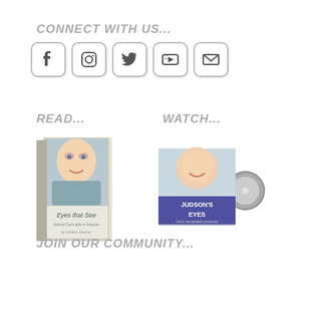CONNECT WITH US...
[Figure (infographic): Row of five social media icon buttons: Facebook, Instagram, Twitter, YouTube, Email]
READ...
WATCH...
[Figure (photo): Book cover: Eyes that See, showing a young blond boy smiling]
[Figure (photo): DVD case: Judson's Eyes documentary]
JOIN OUR COMMUNITY...
[Figure (infographic): Email signup form with 'Your name' and 'Your Email' fields and an OK button]